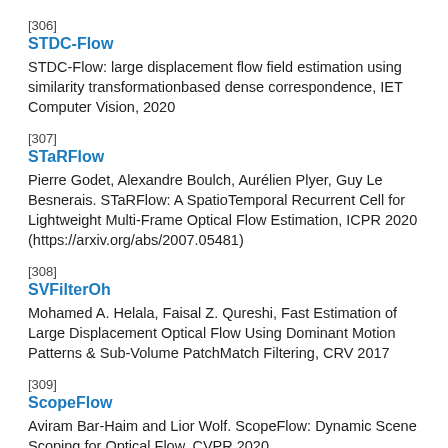[306]
STDC-Flow
STDC-Flow: large displacement flow field estimation using similarity transformationbased dense correspondence, IET Computer Vision, 2020
[307]
STaRFlow
Pierre Godet, Alexandre Boulch, Aurélien Plyer, Guy Le Besnerais. STaRFlow: A SpatioTemporal Recurrent Cell for Lightweight Multi-Frame Optical Flow Estimation, ICPR 2020 (https://arxiv.org/abs/2007.05481)
[308]
SVFilterOh
Mohamed A. Helala, Faisal Z. Qureshi, Fast Estimation of Large Displacement Optical Flow Using Dominant Motion Patterns & Sub-Volume PatchMatch Filtering, CRV 2017
[309]
ScopeFlow
Aviram Bar-Haim and Lior Wolf. ScopeFlow: Dynamic Scene Scoping for Optical Flow, CVPR 2020.
[310]